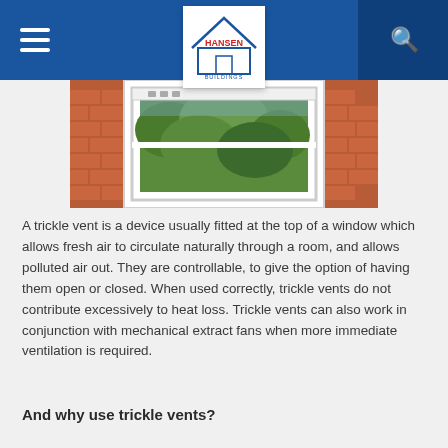Hansen Buildings navigation bar with hamburger menu, logo, and search icon
[Figure (photo): A white uPVC trickle vent window set in a brick wall, with garden greenery visible through the glass.]
A trickle vent is a device usually fitted at the top of a window which allows fresh air to circulate naturally through a room, and allows polluted air out. They are controllable, to give the option of having them open or closed. When used correctly, trickle vents do not contribute excessively to heat loss. Trickle vents can also work in conjunction with mechanical extract fans when more immediate ventilation is required.
And why use trickle vents?